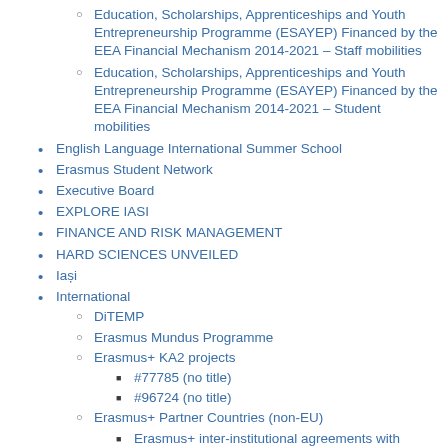Education, Scholarships, Apprenticeships and Youth Entrepreneurship Programme (ESAYEP) Financed by the EEA Financial Mechanism 2014-2021 – Staff mobilities
Education, Scholarships, Apprenticeships and Youth Entrepreneurship Programme (ESAYEP) Financed by the EEA Financial Mechanism 2014-2021 – Student mobilities
English Language International Summer School
Erasmus Student Network
Executive Board
EXPLORE IASI
FINANCE AND RISK MANAGEMENT
HARD SCIENCES UNVEILED
Iași
International
DiTEMP
Erasmus Mundus Programme
Erasmus+ KA2 projects
#77785 (no title)
#96724 (no title)
Erasmus+ Partner Countries (non-EU)
Erasmus+ inter-institutional agreements with partner countries (KA107)